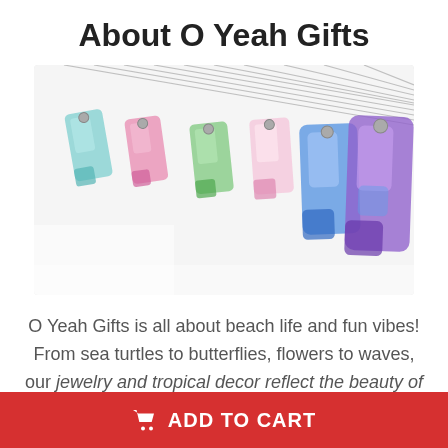About O Yeah Gifts
[Figure (photo): Several colorful resin crystal pendant necklaces arranged in a row on a white surface, in colors including teal, green, pink, blue, and purple, each hanging from a silver chain.]
O Yeah Gifts is all about beach life and fun vibes! From sea turtles to butterflies, flowers to waves, our jewelry and tropical decor reflect the beauty of
ADD TO CART